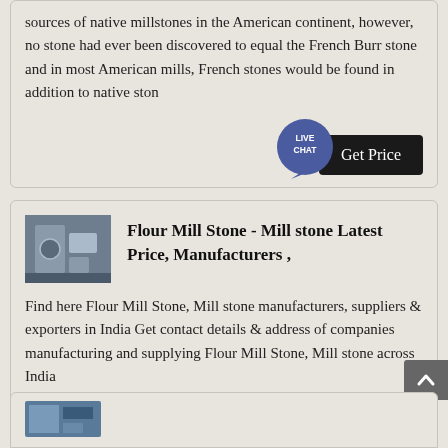sources of native millstones in the American continent, however, no stone had ever been discovered to equal the French Burr stone and in most American mills, French stones would be found in addition to native ston
[Figure (photo): Live Chat bubble icon (teal circle with 'LIVE CHAT' text)]
[Figure (photo): Get Price button (dark/black rectangle)]
[Figure (photo): Thumbnail image of flour mill machinery]
Flour Mill Stone - Mill stone Latest Price, Manufacturers ,
Find here Flour Mill Stone, Mill stone manufacturers, suppliers & exporters in India Get contact details & address of companies manufacturing and supplying Flour Mill Stone, Mill stone across India
[Figure (photo): Get Price button (dark/black rectangle)]
[Figure (photo): Scroll to top button (dark grey with upward arrow)]
[Figure (photo): Partial thumbnail image at bottom of page, partially visible]